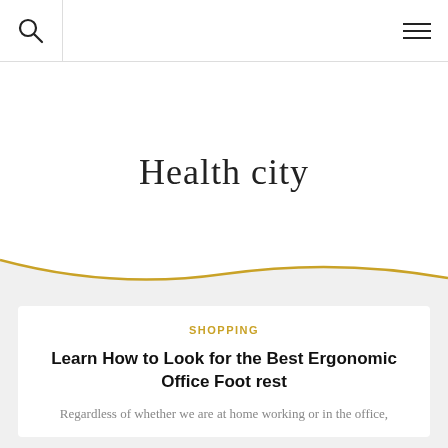Health city — navigation header with search and menu icons
Health city
SHOPPING
Learn How to Look for the Best Ergonomic Office Foot rest
Regardless of whether we are at home working or in the office,